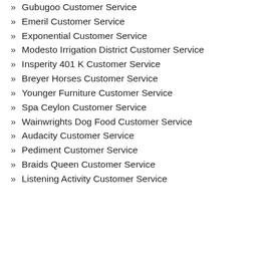Gubugoo Customer Service
Emeril Customer Service
Exponential Customer Service
Modesto Irrigation District Customer Service
Insperity 401 K Customer Service
Breyer Horses Customer Service
Younger Furniture Customer Service
Spa Ceylon Customer Service
Wainwrights Dog Food Customer Service
Audacity Customer Service
Pediment Customer Service
Braids Queen Customer Service
Listening Activity Customer Service